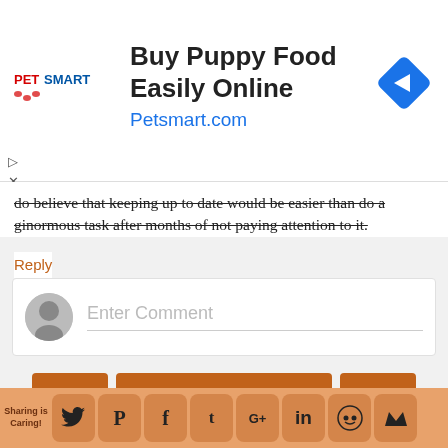[Figure (infographic): PetSmart advertisement banner: Buy Puppy Food Easily Online – Petsmart.com with PetSmart logo and blue diamond navigation icon]
do believe that keeping up to date would be easier than do a ginormous task after months of not paying attention to it.
Reply
[Figure (infographic): Enter Comment input box with gray avatar circle placeholder]
[Figure (infographic): Navigation buttons: left arrow, Home, right arrow; View web version link]
[Figure (infographic): Social sharing bar with: Sharing is Caring!, Twitter, Pinterest, Facebook, Tumblr, Google+, LinkedIn, Reddit, crown/other icons]